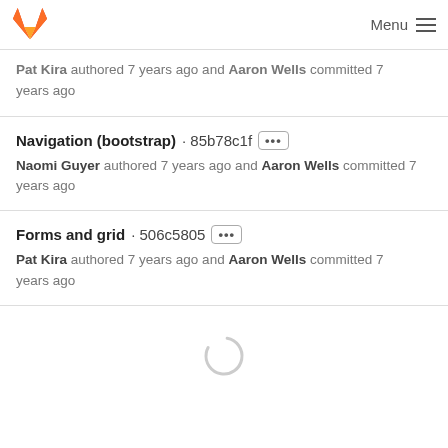GitLab logo / Menu
Pat Kira authored 7 years ago and Aaron Wells committed 7 years ago
Navigation (bootstrap) · 85b78c1f [...]
Naomi Guyer authored 7 years ago and Aaron Wells committed 7 years ago
Forms and grid · 506c5805 [...]
Pat Kira authored 7 years ago and Aaron Wells committed 7 years ago
[Figure (other): Loading spinner (animated circle indicator)]